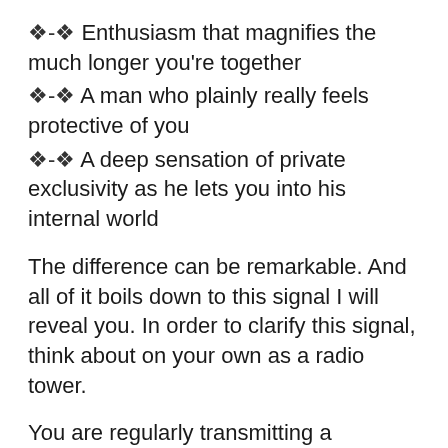◆-◆ Enthusiasm that magnifies the much longer you're together
◆-◆ A man who plainly really feels protective of you
◆-◆ A deep sensation of private exclusivity as he lets you into his internal world
The difference can be remarkable. And all of it boils down to this signal I will reveal you. In order to clarify this signal, think about on your own as a radio tower.
You are regularly transmitting a message to the men in your life. And there's one “network” he can not ignore.
That's since men have emotional “antennas” made particularly to identify this sort of